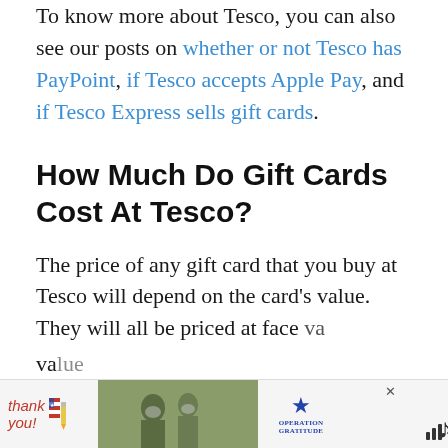To know more about Tesco, you can also see our posts on whether or not Tesco has PayPoint, if Tesco accepts Apple Pay, and if Tesco Express sells gift cards.
How Much Do Gift Cards Cost At Tesco?
The price of any gift card that you buy at Tesco will depend on the card's value. They will all be priced at face va... have to p...
[Figure (infographic): Advertisement banner: 'Thank you!' with American flag graphic, soldiers image, Operation Gratitude logo, and close/mute buttons.]